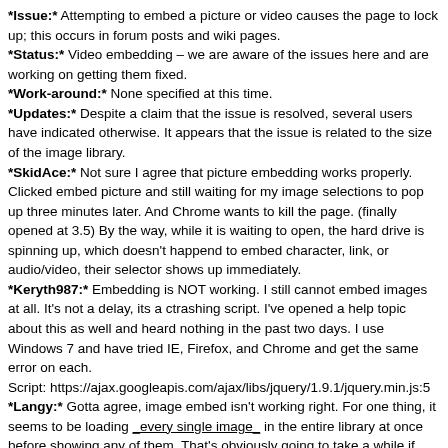*Issue:* Attempting to embed a picture or video causes the page to lock up; this occurs in forum posts and wiki pages.
*Status:* Video embedding – we are aware of the issues here and are working on getting them fixed.
*Work-around:* None specified at this time.
*Updates:* Despite a claim that the issue is resolved, several users have indicated otherwise. It appears that the issue is related to the size of the image library.
*SkidAce:* Not sure I agree that picture embedding works properly. Clicked embed picture and still waiting for my image selections to pop up three minutes later. And Chrome wants to kill the page. (finally opened at 3.5) By the way, while it is waiting to open, the hard drive is spinning up, which doesn't happend to embed character, link, or audio/video, their selector shows up immediately.
*Keryth987:* Embedding is NOT working. I still cannot embed images at all. It's not a delay, its a ctrashing script. I've opened a help topic about this as well and heard nothing in the past two days. I use Windows 7 and have tried IE, Firefox, and Chrome and get the same error on each.
Script: https://ajax.googleapis.com/ajax/libs/jquery/1.9.1/jquery.min.js:5
*Langy:* Gotta agree, image embed isn't working right. For one thing, it seems to be loading _every single image_ in the entire library at once before showing any of them. That's obviously going to take a while if you've got several MB of images. Something else screwy may be going on there, too, but I'm not sure what. Can you use smaller images, or have them only load